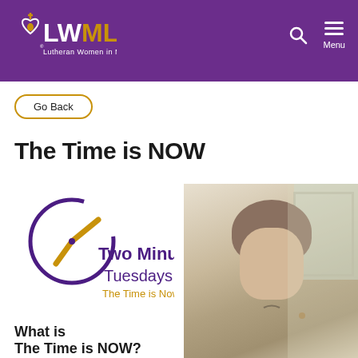LWML Lutheran Women in Mission
Go Back
The Time is NOW
[Figure (logo): Two Minute Tuesdays logo with purple clock and gold clock hands, text: Two Minute Tuesdays, The Time is Now]
[Figure (photo): Photo of a woman with short light hair, partial back/side view, near a window]
What is
The Time is NOW?